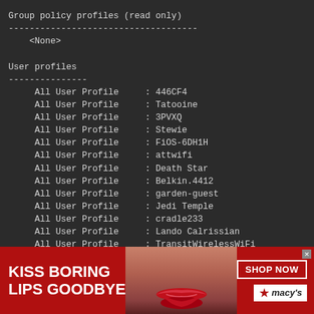Group policy profiles (read only)
------------------------------------
    <None>

User profiles
---------------
     All User Profile     : 446CF4
     All User Profile     : Tatooine
     All User Profile     : 3PVXQ
     All User Profile     : Stewie
     All User Profile     : FiOS-6DH1H
     All User Profile     : attwifi
     All User Profile     : Death Star
     All User Profile     : Belkin.4412
     All User Profile     : garden-guest
     All User Profile     : Jedi Temple
     All User Profile     : cradle233
     All User Profile     : Lando Calrissian
     All User Profile     : TransitWirelessWiFi
     All User Profile     : StudioWifi
     All User Profile     : ACE Lobby
     All User Profile     : Lark Cafe
     All User Profile     : D9F9AD
[Figure (photo): Advertisement banner for Macy's lipstick product. Red background with woman's face and red lips. Text reads KISS BORING LIPS GOODBYE with SHOP NOW button and Macy's star logo.]